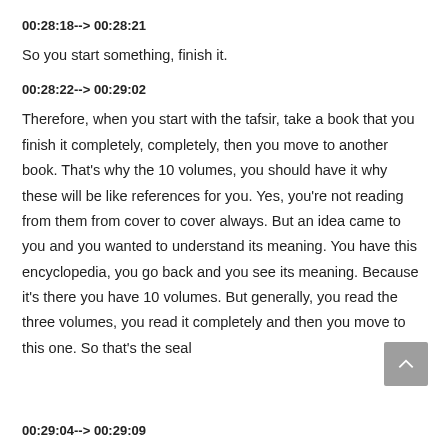00:28:18--> 00:28:21
So you start something, finish it.
00:28:22--> 00:29:02
Therefore, when you start with the tafsir, take a book that you finish it completely, completely, then you move to another book. That's why the 10 volumes, you should have it why these will be like references for you. Yes, you're not reading from them from cover to cover always. But an idea came to you and you wanted to understand its meaning. You have this encyclopedia, you go back and you see its meaning. Because it's there you have 10 volumes. But generally, you read the three volumes, you read it completely and then you move to this one. So that's the seal
00:29:04--> 00:29:09